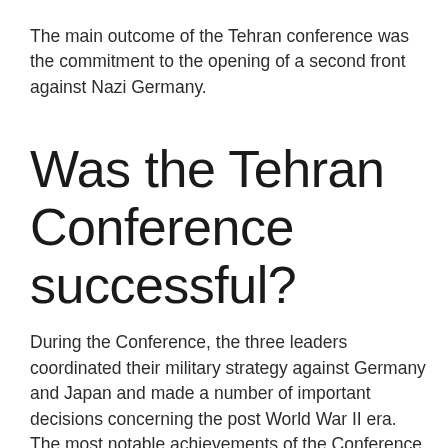The main outcome of the Tehran conference was the commitment to the opening of a second front against Nazi Germany.
Was the Tehran Conference successful?
During the Conference, the three leaders coordinated their military strategy against Germany and Japan and made a number of important decisions concerning the post World War II era. The most notable achievements of the Conference focused on